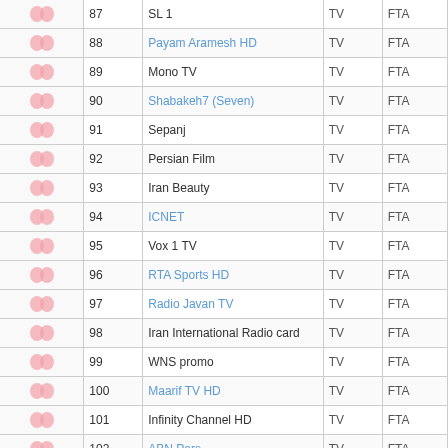|  | # | Name | Type | Enc |
| --- | --- | --- | --- | --- |
| [icon] | 87 | SL 1 | TV | FTA |
| [icon] | 88 | Payam Aramesh HD | TV | FTA |
| [icon] | 89 | Mono TV | TV | FTA |
| [icon] | 90 | Shabakeh7 (Seven) | TV | FTA |
| [icon] | 91 | Sepanj | TV | FTA |
| [icon] | 92 | Persian Film | TV | FTA |
| [icon] | 93 | Iran Beauty | TV | FTA |
| [icon] | 94 | ICNET | TV | FTA |
| [icon] | 95 | Vox 1 TV | TV | FTA |
| [icon] | 96 | RTA Sports HD | TV | FTA |
| [icon] | 97 | Radio Javan TV | TV | FTA |
| [icon] | 98 | Iran International Radio card | TV | FTA |
| [icon] | 99 | WNS promo | TV | FTA |
| [icon] | 100 | Maarif TV HD | TV | FTA |
| [icon] | 101 | Infinity Channel HD | TV | FTA |
| [icon] | 102 | ABN Pars | TV | FTA |
| [icon] | 103 | PN TV | TV | FTA |
| [icon] | ... |  |  |  |